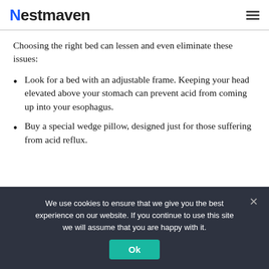Nestmaven
Choosing the right bed can lessen and even eliminate these issues:
Look for a bed with an adjustable frame. Keeping your head elevated above your stomach can prevent acid from coming up into your esophagus.
Buy a special wedge pillow, designed just for those suffering from acid reflux.
We use cookies to ensure that we give you the best experience on our website. If you continue to use this site we will assume that you are happy with it.